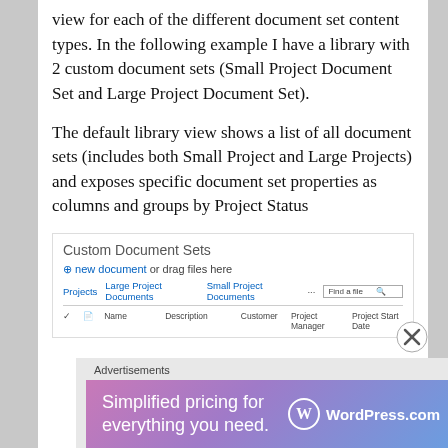view for each of the different document set content types. In the following example I have a library with 2 custom document sets (Small Project Document Set and Large Project Document Set).
The default library view shows a list of all document sets (includes both Small Project and Large Projects) and exposes specific document set properties as columns and groups by Project Status
[Figure (screenshot): Screenshot of a SharePoint document library titled 'Custom Document Sets' showing navigation tabs for Projects, Large Project Documents, Small Project Documents, a search box, and column headers: Name, Description, Customer, Project Manager, Project Start Date]
[Figure (screenshot): WordPress.com advertisement banner: 'Simplified pricing for everything you need.' with WordPress.com logo]
Advertisements